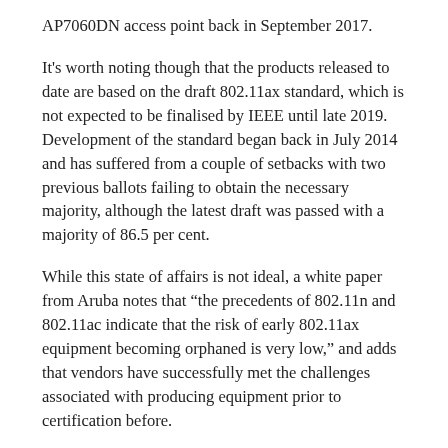AP7060DN access point back in September 2017.
It's worth noting though that the products released to date are based on the draft 802.11ax standard, which is not expected to be finalised by IEEE until late 2019. Development of the standard began back in July 2014 and has suffered from a couple of setbacks with two previous ballots failing to obtain the necessary majority, although the latest draft was passed with a majority of 86.5 per cent.
While this state of affairs is not ideal, a white paper from Aruba notes that “the precedents of 802.11n and 802.11ac indicate that the risk of early 802.11ax equipment becoming orphaned is very low,” and adds that vendors have successfully met the challenges associated with producing equipment prior to certification before.
According to a report from Dell’Oro Group that was published earlier this summer, the delays in rolling out 802.11ax products are expected to reduce the extent of Enterprise Class-WLAN market growth in 2018. “Several manufacturers of Enterprise-class products are postponing general availability of 802.11ax access points, though it from a product and chip integration and